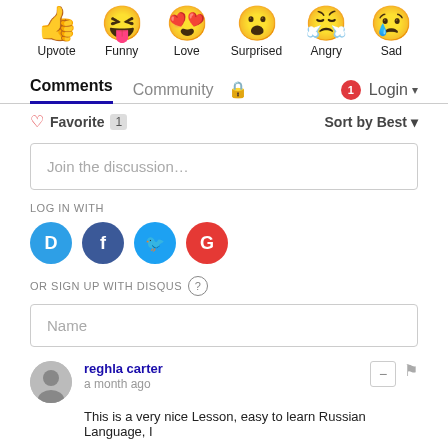[Figure (illustration): Row of six emoji icons: thumbs up, funny face with tongue, heart eyes, surprised face, angry/crying face, sad face with tear]
Upvote  Funny  Love  Surprised  Angry  Sad
Comments  Community  🔒  [1 notification]  Login ▾
♡ Favorite 1   Sort by Best ▾
Join the discussion…
LOG IN WITH
[Figure (illustration): Social login icons: Disqus (D), Facebook (f), Twitter bird, Google (G)]
OR SIGN UP WITH DISQUS ?
Name
reghla carter
a month ago
This is a very nice Lesson, easy to learn Russian Language, I